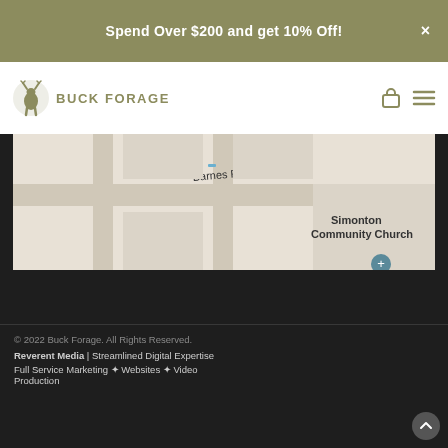Spend Over $200 and get 10% Off!
[Figure (logo): Buck Forage deer logo with text BUCK FORAGE]
[Figure (map): Google Maps screenshot showing Barnes Rd and Simonton Community Church]
© 2022 Buck Forage. All Rights Reserved. Reverent Media | Streamlined Digital Expertise Full Service Marketing ✦ Websites ✦ Video Production